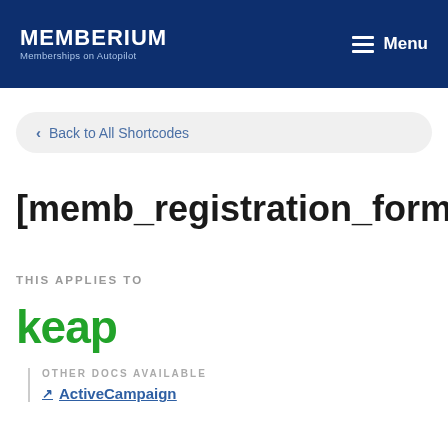MEMBERIUM Memberships on Autopilot | Menu
< Back to All Shortcodes
[memb_registration_form
THIS APPLIES TO
[Figure (logo): Keap logo in green text]
OTHER DOCS AVAILABLE
ActiveCampaign